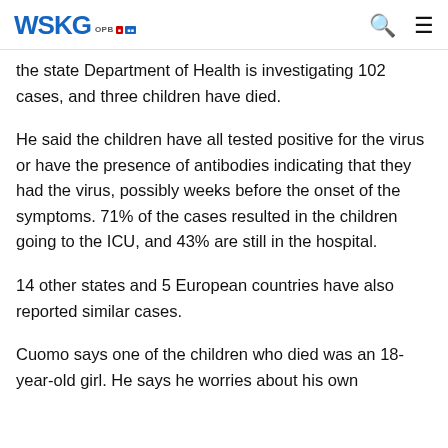WSKG OPB NPR [logo with search and menu icons]
the state Department of Health is investigating 102 cases, and three children have died.
He said the children have all tested positive for the virus or have the presence of antibodies indicating that they had the virus, possibly weeks before the onset of the symptoms. 71% of the cases resulted in the children going to the ICU, and 43% are still in the hospital.
14 other states and 5 European countries have also reported similar cases.
Cuomo says one of the children who died was an 18-year-old girl. He says he worries about his own